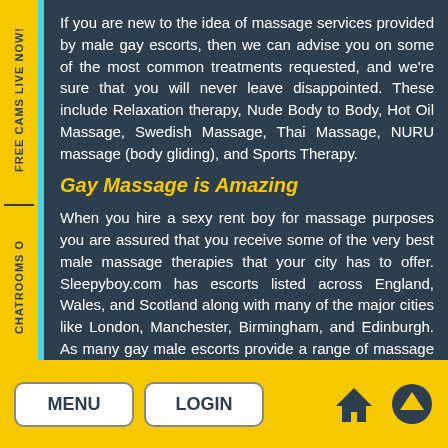FREE CAMS LIVE NOW!
Chatrooms o
If you are new to the idea of massage services provided by male gay escorts, then we can advise you on some of the most common treatments requested, and we're sure that you will never leave disappointed. These include Relaxation therapy, Nude Body to Body, Hot Oil Massage, Swedish Massage, Thai Massage, NURU massage (body gliding), and Sports Therapy.
Gay Massage is Amazing
When you hire a sexy rent boy for massage purposes you are assured that you receive some of the very best male massage therapies that your city has to offer. Sleepyboy.com has escorts listed across England, Wales, and Scotland along with many of the major cities like London, Manchester, Birmingham, and Edinburgh. As many gay male escorts provide a range of massage treatments, you are not
MENU
LOGIN